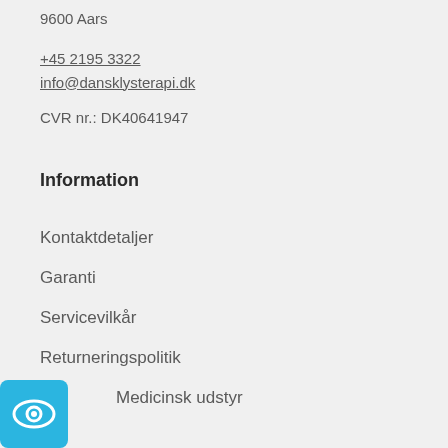Postboks 76
9600 Aars
+45 2195 3322
info@dansklysterapi.dk
CVR nr.: DK40641947
Information
Kontaktdetaljer
Garanti
Servicevilkår
Returneringspolitik
Medicinsk udstyr
[Figure (logo): Blue rounded square badge with a stylized eye icon inside]